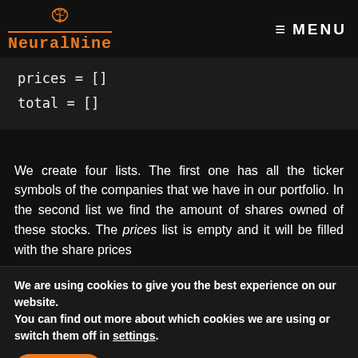NeuralNine  MENU
prices = []
total = []
We create four lists. The first one has all the ticker symbols of the companies that we have in our portfolio. In the second list we find the amount of shares owned of these stocks. The prices list is empty and it will be filled with the share prices
We are using cookies to give you the best experience on our website.
You can find out more about which cookies we are using or switch them off in settings.
Accept